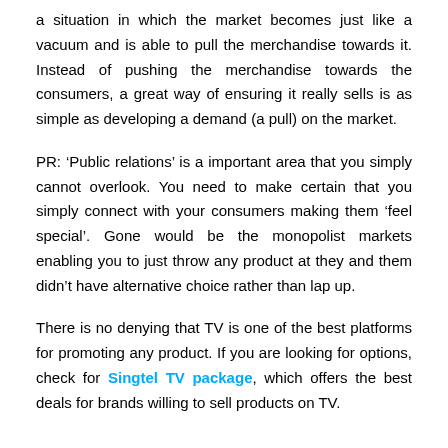a situation in which the market becomes just like a vacuum and is able to pull the merchandise towards it. Instead of pushing the merchandise towards the consumers, a great way of ensuring it really sells is as simple as developing a demand (a pull) on the market.
PR: ‘Public relations’ is a important area that you simply cannot overlook. You need to make certain that you simply connect with your consumers making them ‘feel special’. Gone would be the monopolist markets enabling you to just throw any product at they and them didn’t have alternative choice rather than lap up.
There is no denying that TV is one of the best platforms for promoting any product. If you are looking for options, check for Singtel TV package, which offers the best deals for brands willing to sell products on TV.